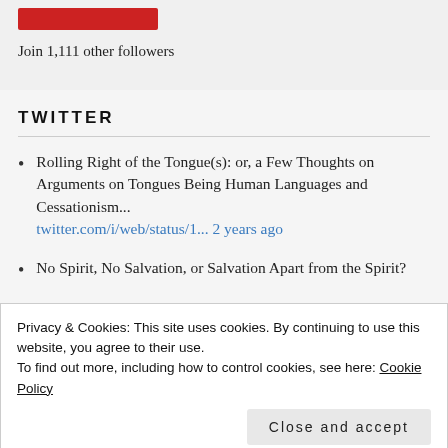[Figure (other): Red button/bar element]
Join 1,111 other followers
TWITTER
Rolling Right of the Tongue(s): or, a Few Thoughts on Arguments on Tongues Being Human Languages and Cessationism... twitter.com/i/web/status/1... 2 years ago
No Spirit, No Salvation, or Salvation Apart from the Spirit?
Privacy & Cookies: This site uses cookies. By continuing to use this website, you agree to their use.
To find out more, including how to control cookies, see here: Cookie Policy
Works and Glory: or, Brief Assorted Thoughts on